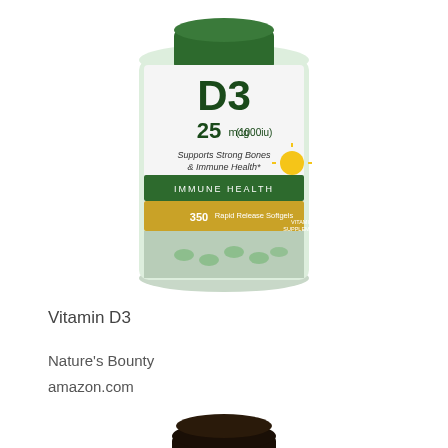[Figure (photo): Nature's Bounty Vitamin D3 25mcg (1000 IU) supplement bottle, green cap, white and gold label, 350 Rapid Release Softgels]
Vitamin D3
Nature's Bounty
amazon.com
[Figure (photo): NatureWise Vitamin D3 125 mcg (5,000 IU) supplement bottle, dark brown glass bottle with amber/yellow label]